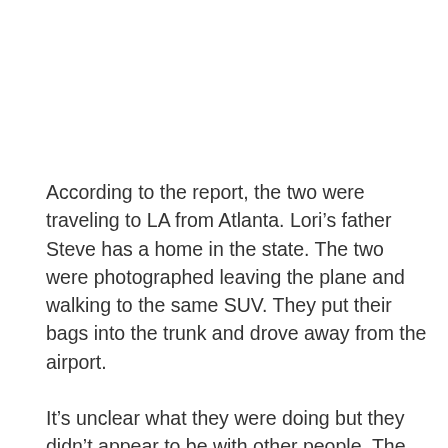According to the report, the two were traveling to LA from Atlanta. Lori's father Steve has a home in the state. The two were photographed leaving the plane and walking to the same SUV. They put their bags into the trunk and drove away from the airport.
It's unclear what they were doing but they didn't appear to be with other people. The romance is a bit of a shock for people but they are both very